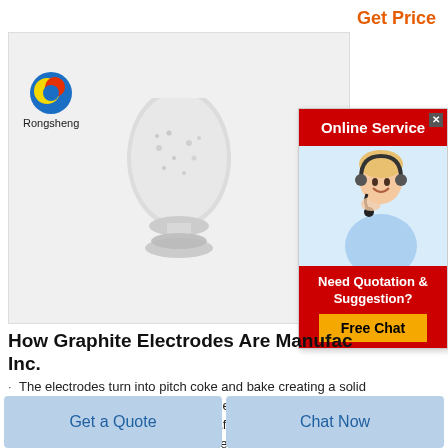Get Price
[Figure (photo): Product photo of white powder in a bag/pile displayed on a pedestal, with Rongsheng logo in top left]
[Figure (photo): Online Service widget showing a woman with headset, a red header saying 'Online Service', a close button, 'Need Quotation & Suggestion?' text, and a yellow 'Free Chat' button]
How Graphite Electrodes Are Manufactured – Inc.
· The electrodes turn into pitch coke and bake creating a solid electrode. To improve the texture the electrodes enter an autoclave where they soak up the liquid pitch. After soaking they bake again to solidify their composition. The Completed Product. By baking the electrodes at 3000 degrees Celsius they become graphite.
Get a Quote
Chat Now